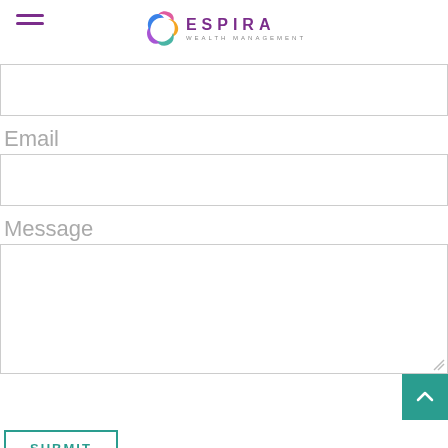[Figure (logo): Espira Wealth Management logo with swirl icon and purple/teal text]
Email
Message
SUBMIT